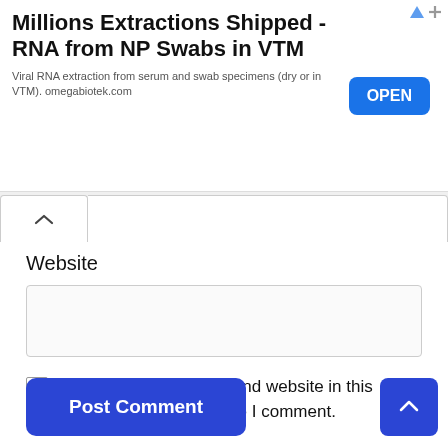[Figure (screenshot): Advertisement banner: 'Millions Extractions Shipped - RNA from NP Swabs in VTM' with OPEN button]
Millions Extractions Shipped - RNA from NP Swabs in VTM
Viral RNA extraction from serum and swab specimens (dry or in VTM). omegabiotek.com
Website
Save my name, email, and website in this browser for the next time I comment.
Post Comment